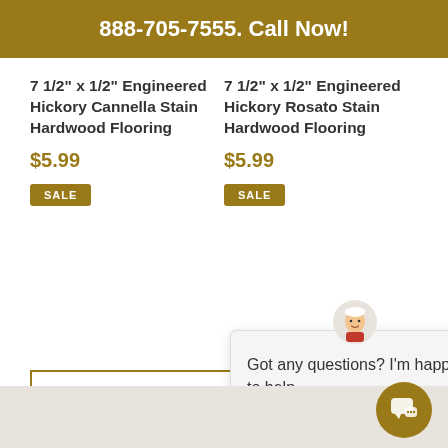888-705-7555. Call Now!
7 1/2" x 1/2" Engineered Hickory Cannella Stain Hardwood Flooring
$5.99
SALE
7 1/2" x 1/2" Engineered Hickory Rosato Stain Hardwood Flooring
$5.99
SALE
← BACK T
Got any questions? I'm happy to help.